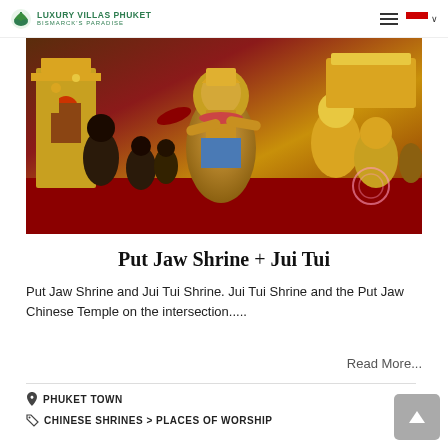LUXURY VILLAS PHUKET – BISMARCK'S PARADISE
[Figure (photo): Close-up photo of colorful Thai/Chinese shrine deity statues with gold and red decorations]
Put Jaw Shrine + Jui Tui
Put Jaw Shrine and Jui Tui Shrine. Jui Tui Shrine and the Put Jaw Chinese Temple on the intersection.....
Read More...
PHUKET TOWN
CHINESE SHRINES > PLACES OF WORSHIP